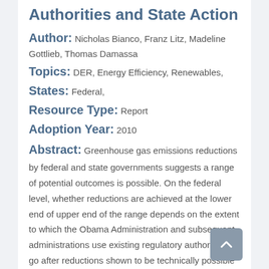Authorities and State Action
Author: Nicholas Bianco, Franz Litz, Madeline Gottlieb, Thomas Damassa
Topics: DER, Energy Efficiency, Renewables,
States: Federal,
Resource Type: Report
Adoption Year: 2010
Abstract: Greenhouse gas emissions reductions by federal and state governments suggests a range of potential outcomes is possible. On the federal level, whether reductions are achieved at the lower end of upper end of the range depends on the extent to which the Obama Administration and subsequent administrations use existing regulatory authority to go after reductions shown to be technically possible in the literature. On the state level, whether reductions are realized at the